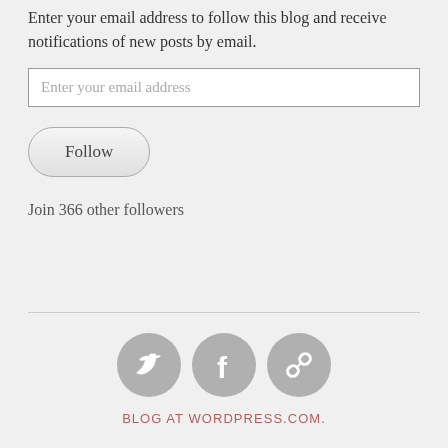Enter your email address to follow this blog and receive notifications of new posts by email.
Enter your email address
Follow
Join 366 other followers
[Figure (illustration): Three social media icon circles: Twitter bird icon, Facebook 'f' icon, and a chain/link icon, all in gray.]
BLOG AT WORDPRESS.COM.